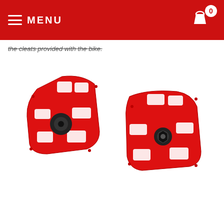MENU
the cleats provided with the bike.
[Figure (photo): Two red Look Keo road bike cycling cleats shown from the top and bottom angles. The cleats are triangular/trapezoidal in shape with a red plastic body featuring open rectangular slots and a central black metal/rubber cleat attachment disc with a screw bolt.]